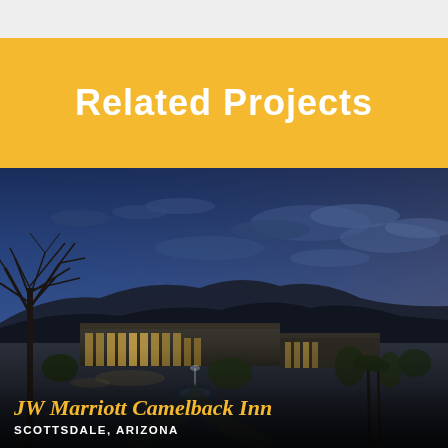Related Projects
[Figure (photo): Twilight exterior photo of JW Marriott Camelback Inn resort, Scottsdale Arizona. Shows illuminated hotel buildings with warm interior lighting, a fountain, desert trees silhouetted against a dramatic blue dusk sky with clouds and mountain silhouette in background.]
JW Marriott Camelback Inn
SCOTTSDALE, ARIZONA